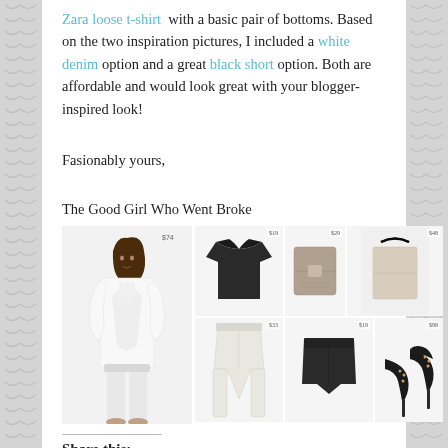Zara loose t-shirt with a basic pair of bottoms. Based on the two inspiration pictures, I included a white denim option and a great black short option. Both are affordable and would look great with your blogger-inspired look!
Fasionably yours,
The Good Girl Who Went Broke
[Figure (photo): Fashion collage showing a woman in white blazer and pants outfit, alongside clothing items: black t-shirt ($19), beige wallet ($29), white jeans ($33), black shorts ($19), black tote bag ($48), and studded heels ($98)]
Share this: